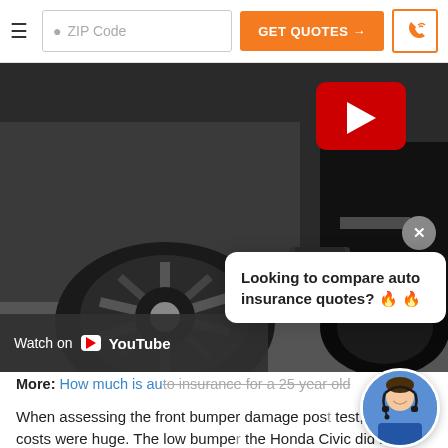[Figure (screenshot): Navigation bar with hamburger menu, ZIP code input, GET QUOTES button in orange, and phone icon button]
[Figure (photo): Black and white photo of car bumpers close together after a collision, with a red YouTube play button overlay and 'Watch on YouTube' bar at the bottom left]
Looking to compare auto insurance quotes? 🔥 🔥
More: How much is auto insurance for a 25 year old?
When assessing the front bumper damage post test, the repair costs were huge. The low bumper the Honda Civic did not align with the higher bumper